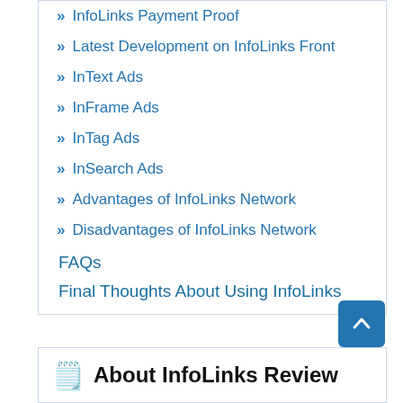» InfoLinks Payment Proof
» Latest Development on InfoLinks Front
» InText Ads
» InFrame Ads
» InTag Ads
» InSearch Ads
» Advantages of InfoLinks Network
» Disadvantages of InfoLinks Network
FAQs
Final Thoughts About Using InfoLinks
About InfoLinks Review